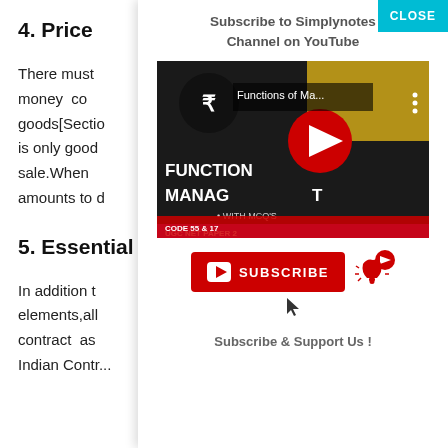4. Price
There must be money co... goods[Section... is only good... sale.When... amounts to d...
5. Essential
In addition t elements,all contract as Indian Contr...
[Figure (screenshot): Subscribe to Simplynotes Channel on YouTube popup overlay with a YouTube video thumbnail showing 'Functions of Ma...' with FUNCTIONS OF MANAGEMENT title, a red Subscribe button, and 'Subscribe & Support Us !' text. A teal CLOSE button is in the top right corner.]